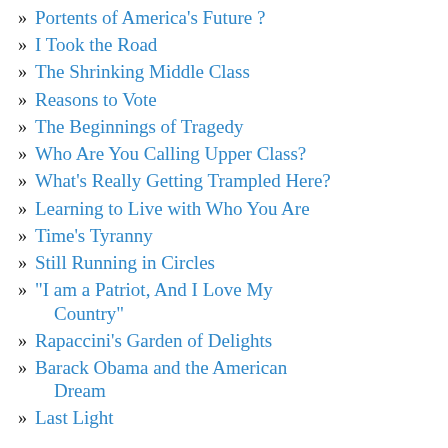» Portents of America's Future ?
» I Took the Road
» The Shrinking Middle Class
» Reasons to Vote
» The Beginnings of Tragedy
» Who Are You Calling Upper Class?
» What's Really Getting Trampled Here?
» Learning to Live with Who You Are
» Time's Tyranny
» Still Running in Circles
» "I am a Patriot, And I Love My Country"
» Rapaccini's Garden of Delights
» Barack Obama and the American Dream
» Last Light